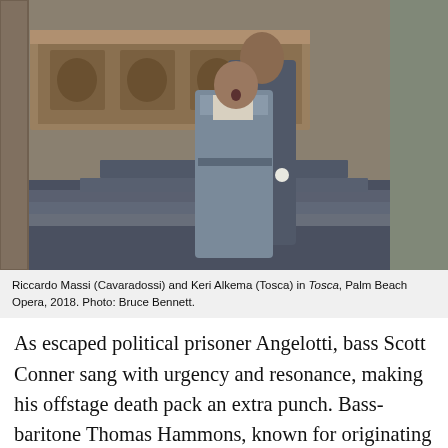[Figure (photo): Two opera singers on stage: a man (Cavaradossi) standing behind a woman (Tosca) who is singing in a blue-grey dress, with church/altar set pieces in the background.]
Riccardo Massi (Cavaradossi) and Keri Alkema (Tosca) in Tosca, Palm Beach Opera, 2018. Photo: Bruce Bennett.
As escaped political prisoner Angelotti, bass Scott Conner sang with urgency and resonance, making his offstage death pack an extra punch. Bass-baritone Thomas Hammons, known for originating the role of Henry Kissinger in Nixon in China, caught lots of laughs as the grumbling Sacristan. Emerging artists